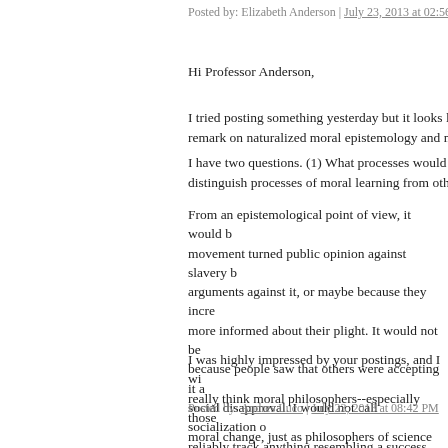Posted by: Elizabeth Anderson | July 23, 2013 at 02:56 PM
Hi Professor Anderson,
I tried posting something yesterday but it looks li remark on naturalized moral epistemology and m
I have two questions. (1) What processes would y distinguish processes of moral learning from othe
From an epistemological point of view, it would b movement turned public opinion against slavery b arguments against it, or maybe because they incre more informed about their plight. It would not be because people saw that others were accepting it a social disapproval. I would not call socialization o reliably track anything resembling a success criter socialized into believing any silly thing.
I was highly impressed by your postings, and I wi really think moral philosophers--especially those moral change, just as philosophers of science look filling an incredibly important gap.
Posted by: Andres Luco | July 23, 2013 at 08:42 PM